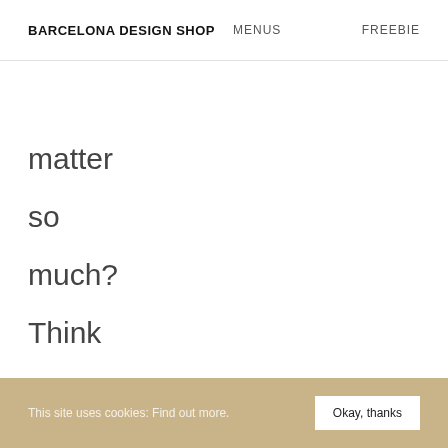BARCELONA DESIGN SHOP MENUS FREEBIE BLOG
matter so much? Think again! The menu is the first real contact between your customers
This site uses cookies: Find out more. Okay, thanks